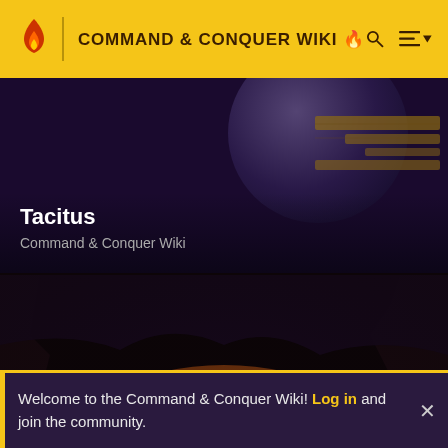COMMAND & CONQUER WIKI 🔥
Tacitus
Command & Conquer Wiki
[Figure (screenshot): Dark cave/landscape scene from Command & Conquer game — Brotherhood of Nod themed artwork showing orange-lit rocky cavern environment]
Brotherhood of Nod
Welcome to the Command & Conquer Wiki! Log in and join the community.